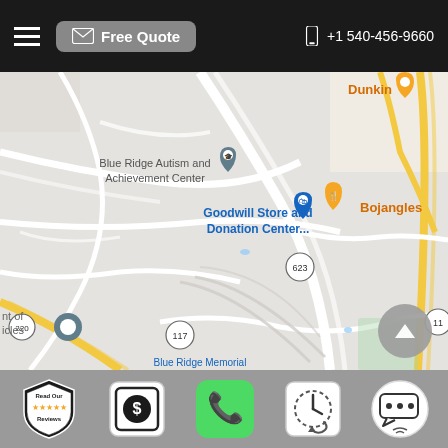Free Quote  +1 540-456-9660
[Figure (map): Google Maps screenshot showing area with Blue Ridge Autism and Achievement Center, Goodwill Store and Donation Center, Bojangles, Dunkin, route 623, route 117, route 220, route 11, and Blue Ridge Memorial visible. Roads shown in white and yellow on a light gray background.]
Read Our Reviews | Dollar icon | Phone | Clock/History | Message icons